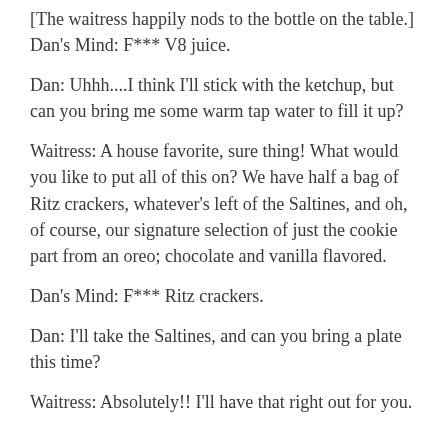[The waitress happily nods to the bottle on the table.] Dan's Mind: F*** V8 juice.
Dan: Uhhh....I think I'll stick with the ketchup, but can you bring me some warm tap water to fill it up?
Waitress: A house favorite, sure thing! What would you like to put all of this on? We have half a bag of Ritz crackers, whatever's left of the Saltines, and oh, of course, our signature selection of just the cookie part from an oreo; chocolate and vanilla flavored.
Dan's Mind: F*** Ritz crackers.
Dan: I'll take the Saltines, and can you bring a plate this time?
Waitress: Absolutely!! I'll have that right out for you.